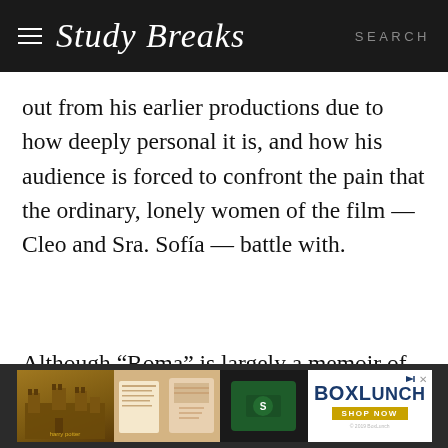Study Breaks  SEARCH
out from his earlier productions due to how deeply personal it is, and how his audience is forced to confront the pain that the ordinary, lonely women of the film — Cleo and Sra. Sofía — battle with.
Although “Roma” is largely a memoir of
[Figure (photo): BoxLunch advertisement banner showing Harry Potter themed merchandise including castle illustration, clothing items, and green sweater with logo. BoxLunch logo with SHOP NOW button on yellow/gold background.]